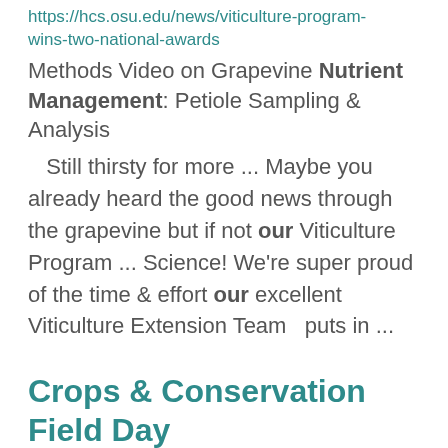https://hcs.osu.edu/news/viticulture-program-wins-two-national-awards
Methods Video on Grapevine Nutrient Management: Petiole Sampling & Analysis
Still thirsty for more ... Maybe you already heard the good news through the grapevine but if not our Viticulture Program ... Science! We're super proud of the time & effort our excellent Viticulture Extension Team   puts in ...
Crops & Conservation Field Day
https://agcrops.osu.edu/newsletter/corn-newsletter/2022-27/crops-conservation-field-day
The new ACRE (Ag Conservation, Research and Education) Farm started in